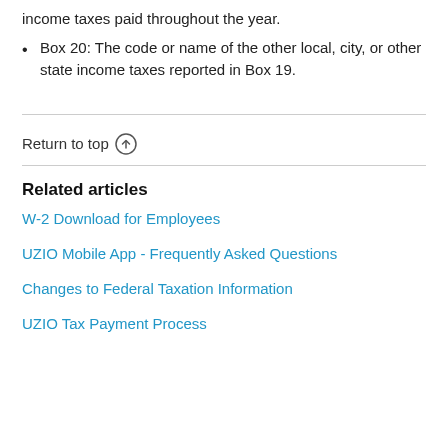income taxes paid throughout the year.
Box 20: The code or name of the other local, city, or other state income taxes reported in Box 19.
Return to top ↑
Related articles
W-2 Download for Employees
UZIO Mobile App - Frequently Asked Questions
Changes to Federal Taxation Information
UZIO Tax Payment Process